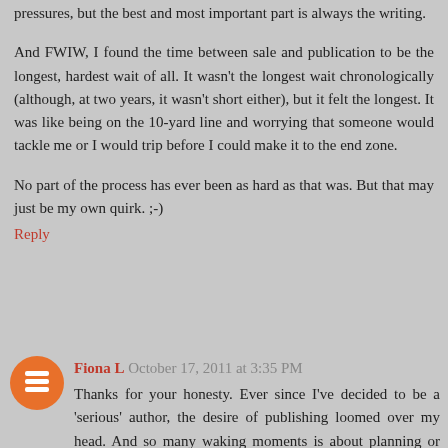pressures, but the best and most important part is always the writing.
And FWIW, I found the time between sale and publication to be the longest, hardest wait of all. It wasn't the longest wait chronologically (although, at two years, it wasn't short either), but it felt the longest. It was like being on the 10-yard line and worrying that someone would tackle me or I would trip before I could make it to the end zone.
No part of the process has ever been as hard as that was. But that may just be my own quirk. ;-)
Reply
Fiona L  October 17, 2011 at 3:35 PM
Thanks for your honesty. Ever since I've decided to be a 'serious' author, the desire of publishing loomed over my head. And so many waking moments is about planning or dreaming or thinking for a way to get published. Sometimes I think it got a bit unhealthy.